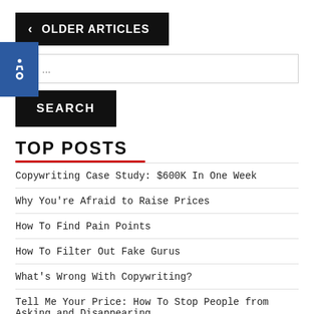< OLDER ARTICLES
[Figure (other): Accessibility icon - wheelchair symbol on blue background]
rch ...
SEARCH
TOP POSTS
Copywriting Case Study: $600K In One Week
Why You're Afraid to Raise Prices
How To Find Pain Points
How To Filter Out Fake Gurus
What's Wrong With Copywriting?
Tell Me Your Price: How To Stop People from Asking and Disappearing